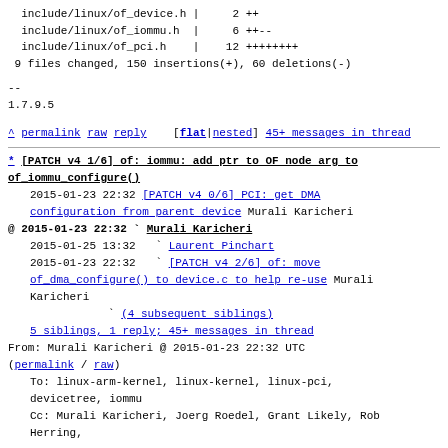include/linux/of_device.h |     2 ++
  include/linux/of_iommu.h  |     6 ++--
  include/linux/of_pci.h    |    12 ++++++++
 9 files changed, 150 insertions(+), 60 deletions(-)
--
1.7.9.5
^ permalink raw reply    [flat|nested] 45+ messages in thread
* [PATCH v4 1/6] of: iommu: add ptr to OF node arg to of_iommu_configure()
  2015-01-23 22:32 [PATCH v4 0/6] PCI: get DMA configuration from parent device Murali Karicheri
@ 2015-01-23 22:32 ` Murali Karicheri
  2015-01-25 13:32   ` Laurent Pinchart
  2015-01-23 22:32   ` [PATCH v4 2/6] of: move of_dma_configure() to device.c to help re-use Murali Karicheri
                     ` (4 subsequent siblings)
  5 siblings, 1 reply; 45+ messages in thread
From: Murali Karicheri @ 2015-01-23 22:32 UTC
(permalink / raw)
To: linux-arm-kernel, linux-kernel, linux-pci, devicetree, iommu
  Cc: Murali Karicheri, Joerg Roedel, Grant Likely, Rob Herring,